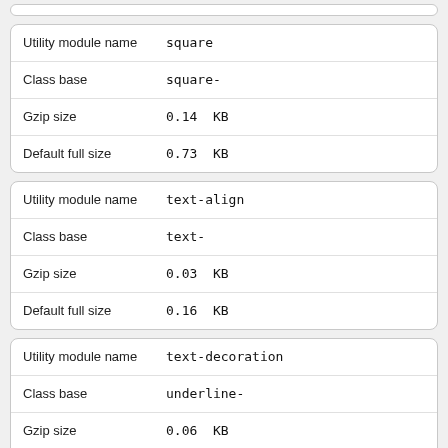| Utility module name | square |
| --- | --- |
| Class base | square- |
| Gzip size | 0.14  KB |
| Default full size | 0.73  KB |
| Utility module name | text-align |
| --- | --- |
| Class base | text- |
| Gzip size | 0.03  KB |
| Default full size | 0.16  KB |
| Utility module name | text-decoration |
| --- | --- |
| Class base | underline- |
| Gzip size | 0.06  KB |
| Default full size | 0.32  KB |